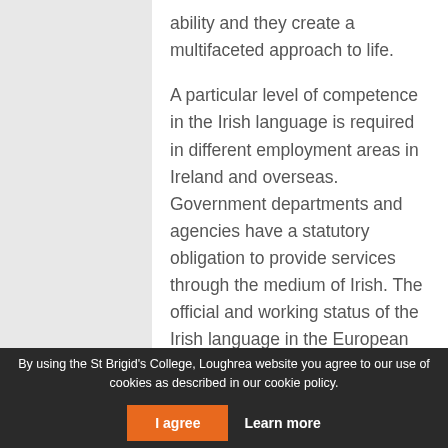ability and they create a multifaceted approach to life.
A particular level of competence in the Irish language is required in different employment areas in Ireland and overseas. Government departments and agencies have a statutory obligation to provide services through the medium of Irish. The official and working status of the Irish language in the European Union creates further opportunities for employment. Irish is an advantage for students who wish to work in these various fields or who want to conduct their business through the medium of Irish. The
By using the St Brigid's College, Loughrea website you agree to our use of cookies as described in our cookie policy.